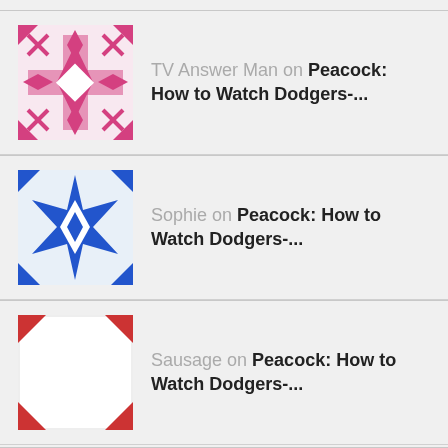[Figure (illustration): Pink decorative avatar icon with geometric cross/floral pattern]
TV Answer Man on Peacock: How to Watch Dodgers-...
[Figure (illustration): Blue decorative avatar icon with geometric star/snowflake pattern]
Sophie on Peacock: How to Watch Dodgers-...
[Figure (illustration): White avatar icon with small red corner triangles]
Sausage on Peacock: How to Watch Dodgers-...
SEARCH TVANSWERMAN.COM